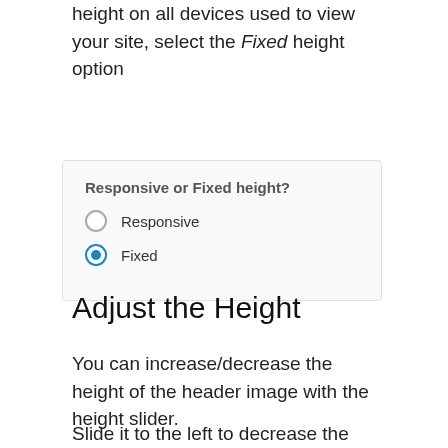height on all devices used to view your site, select the Fixed height option
[Figure (screenshot): UI panel showing 'Responsive or Fixed height?' with two radio button options: Responsive (unselected) and Fixed (selected, shown with filled blue circle).]
Adjust the Height
You can increase/decrease the height of the header image with the height slider.
Slide it to the left to decrease the height of the